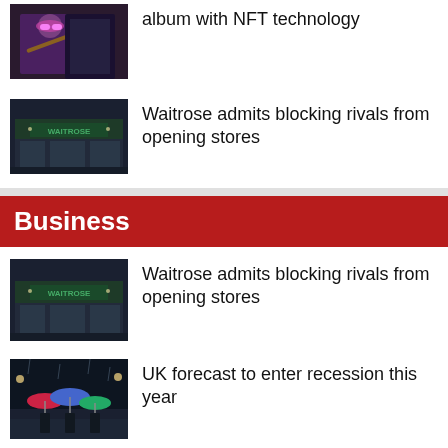[Figure (photo): Musician with pink glasses performing, partially visible at top]
album with NFT technology
[Figure (photo): Waitrose store exterior at night with green signage]
Waitrose admits blocking rivals from opening stores
Business
[Figure (photo): Waitrose store exterior at night with green signage]
Waitrose admits blocking rivals from opening stores
[Figure (photo): People walking in rain at night with colorful umbrellas]
UK forecast to enter recession this year
[Figure (photo): Partial image of news article thumbnail]
Soaring US dollar pushes pound to biggest